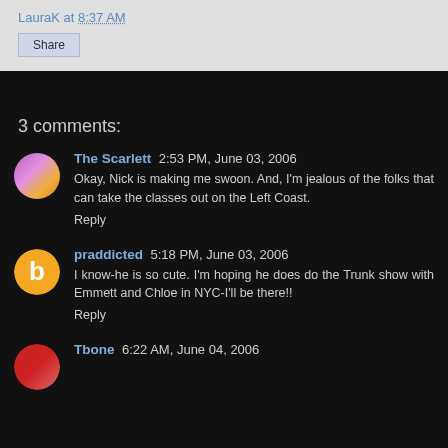LauraK at 8:37 AM
Share
3 comments:
The Scarlett 2:53 PM, June 03, 2006 — Okay, Nick is making me swoon. And, I'm jealous of the folks that can take the classes out on the Left Coast. Reply
praddicted 5:18 PM, June 03, 2006 — I know-he is so cute. I'm hoping he does do the Trunk show with Emmett and Chloe in NYC-I'll be there!! Reply
Tbone 6:22 AM, June 04, 2006